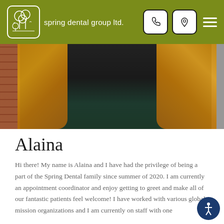spring dental group ltd.
[Figure (photo): Portrait photo of Alaina, a woman with long wavy blonde/brown hair, wearing a dark outfit, standing in front of a brick wall]
Alaina
Hi there! My name is Alaina and I have had the privilege of being a part of the Spring Dental family since summer of 2020. I am currently an appointment coordinator and enjoy getting to greet and make all of our fantastic patients feel welcome! I have worked with various global mission organizations and I am currently on staff with one